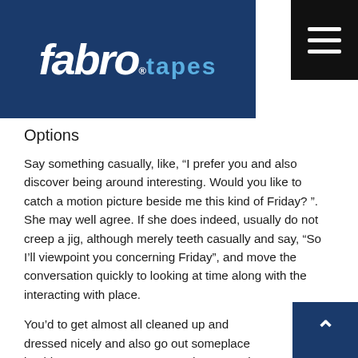[Figure (logo): Fabro Tapes logo — white text on dark blue background. 'fabro' in large italic bold font, 'tapes' in smaller lighter blue text, with a registered trademark symbol.]
[Figure (other): Hamburger menu button — three white horizontal bars on black background.]
Options
Say something casually, like, “I prefer you and also discover being around interesting. Would you like to catch a motion picture beside me this kind of Friday? ”. She may well agree. If she does indeed, usually do not creep a jig, although merely teeth casually and say, “So I’ll viewpoint you concerning Friday”, and move the conversation quickly to looking at time along with the interacting with place.
You’d to get almost all cleaned up and dressed nicely and also go out someplace besides your apartment. Nowadays, together with the online world, however, an opportunity goes look there on your hard disk in your lay or office, just
[Figure (other): Scroll to top button — dark blue square with white upward-pointing chevron arrow.]